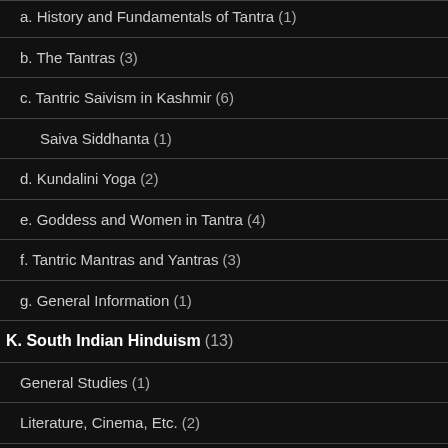a. History and Fundamentals of Tantra (1)
b. The Tantras (3)
c. Tantric Saivism in Kashmir (6)
Saiva Siddhanta (1)
d. Kundalini Yoga (2)
e. Goddess and Women in Tantra (4)
f. Tantric Mantras and Yantras (3)
g. General Information (1)
K. South Indian Hinduism (13)
General Studies (1)
Literature, Cinema, Etc. (2)
South Indian Deities (3)
South Indian Festivals (2)